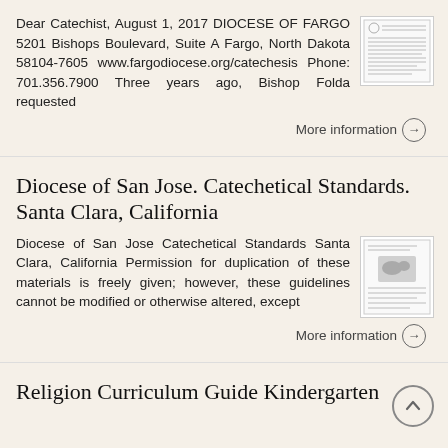Dear Catechist, August 1, 2017 DIOCESE OF FARGO 5201 Bishops Boulevard, Suite A Fargo, North Dakota 58104-7605 www.fargodiocese.org/catechesis Phone: 701.356.7900 Three years ago, Bishop Folda requested
More information →
Diocese of San Jose. Catechetical Standards. Santa Clara, California
Diocese of San Jose Catechetical Standards Santa Clara, California Permission for duplication of these materials is freely given; however, these guidelines cannot be modified or otherwise altered, except
More information →
Religion Curriculum Guide Kindergarten